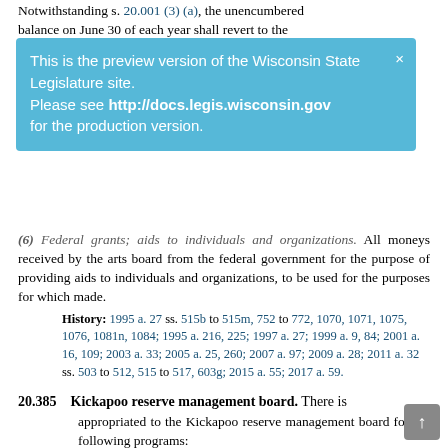Notwithstanding s. 20.001 (3) (a), the unencumbered balance on June 30 of each year shall revert to the
[Figure (screenshot): Preview banner overlay: 'This is the preview version of the Wisconsin State Legislature site. Please see http://docs.legis.wisconsin.gov for the production version.' with a close button (×).]
(6) Federal grants; aids to individuals and organizations. All moneys received by the arts board from the federal government for the purpose of providing aids to individuals and organizations, to be used for the purposes for which made.
History: 1995 a. 27 ss. 515b to 515m, 752 to 772, 1070, 1071, 1075, 1076, 1081n, 1084; 1995 a. 216, 225; 1997 a. 27; 1999 a. 9, 84; 2001 a. 16, 109; 2003 a. 33; 2005 a. 25, 260; 2007 a. 97; 2009 a. 28; 2011 a. 32 ss. 503 to 512, 515 to 517, 603g; 2015 a. 55; 2017 a. 59.
20.385 Kickapoo reserve management board. There is appropriated to the Kickapoo reserve management board for the following programs:
(1) KICKAPOO VALLEY RESERVE.
(g) Kickapoo reserve management board; program services. All moneys received by the Kickapoo reserve management board from admissions, fees, leases, concessions, memberships, sales and other similar receipts authorized under s. 41.41 to be used for the general program operations.